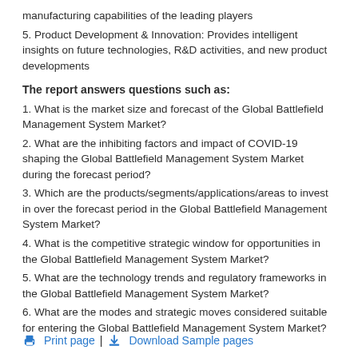manufacturing capabilities of the leading players
5. Product Development & Innovation: Provides intelligent insights on future technologies, R&D activities, and new product developments
The report answers questions such as:
1. What is the market size and forecast of the Global Battlefield Management System Market?
2. What are the inhibiting factors and impact of COVID-19 shaping the Global Battlefield Management System Market during the forecast period?
3. Which are the products/segments/applications/areas to invest in over the forecast period in the Global Battlefield Management System Market?
4. What is the competitive strategic window for opportunities in the Global Battlefield Management System Market?
5. What are the technology trends and regulatory frameworks in the Global Battlefield Management System Market?
6. What are the modes and strategic moves considered suitable for entering the Global Battlefield Management System Market?
Print page | Download Sample pages